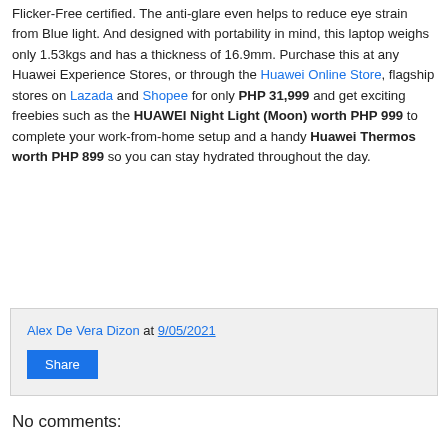Flicker-Free certified. The anti-glare even helps to reduce eye strain from Blue light. And designed with portability in mind, this laptop weighs only 1.53kgs and has a thickness of 16.9mm. Purchase this at any Huawei Experience Stores, or through the Huawei Online Store, flagship stores on Lazada and Shopee for only PHP 31,999 and get exciting freebies such as the HUAWEI Night Light (Moon) worth PHP 999 to complete your work-from-home setup and a handy Huawei Thermos worth PHP 899 so you can stay hydrated throughout the day.
Alex De Vera Dizon at 9/05/2021
Share
No comments: